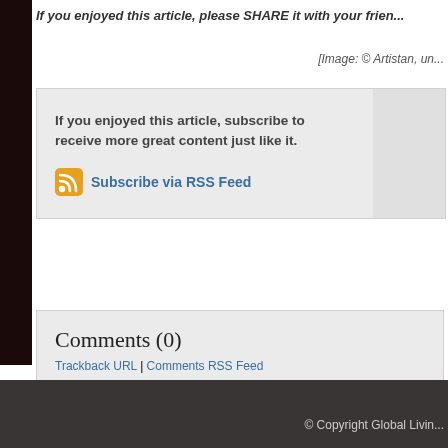If you enjoyed this article, please SHARE it with your frien...
[Image: © Artistan, un...
If you enjoyed this article, subscribe to receive more great content just like it.
Subscribe via RSS Feed
Comments (0)
Trackback URL | Comments RSS Feed
Comments are closed.
« Previous Post
© Copyright Global Livin...